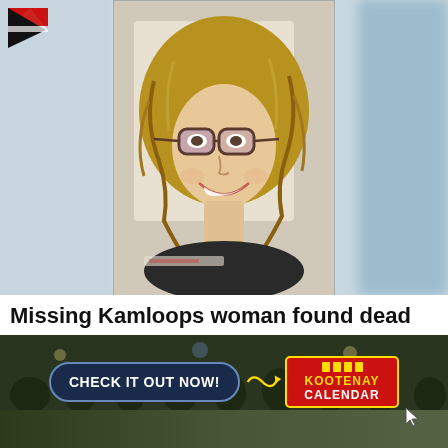[Figure (photo): Portrait photo of a smiling woman with curly blonde hair and dark-rimmed glasses, centered on a light blue-grey background. A news organization logo (red and black triangular/chevron shape) is visible in the top-left corner.]
Missing Kamloops woman found dead
Criminality is not suspected in her deathCriminality is not suspected in her death
Black Press Media
[Figure (photo): Partial outdoor crowd/concert photo strip visible above advertisement banner.]
[Figure (infographic): Advertisement banner for Kootenay Calendar reading CHECK IT OUT NOW! with Kootenay Calendar logo in red and gold, on a dark background with crowd photo.]